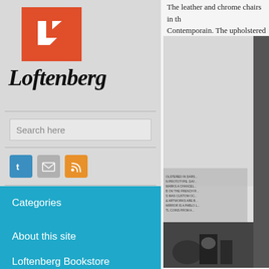[Figure (logo): Loftenberg logo: orange/red square with white letter L mark]
Loftenberg
Search here
[Figure (infographic): Social media icons: Twitter (blue), Email (grey), RSS (orange)]
Categories
About this site
Loftenberg Bookstore
The leather and chrome chairs in th... Contemporain. The upholstered "w...
[Figure (photo): Black and white photo of industrial/design objects with caption text overlay]